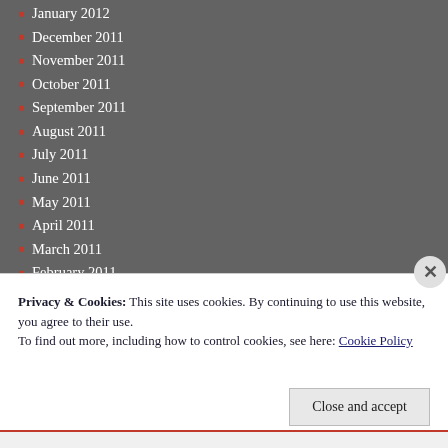January 2012
December 2011
November 2011
October 2011
September 2011
August 2011
July 2011
June 2011
May 2011
April 2011
March 2011
February 2011
January 2011
December 2010
November 2010
October 2010
September 2010
August 2010
Privacy & Cookies: This site uses cookies. By continuing to use this website, you agree to their use.
To find out more, including how to control cookies, see here: Cookie Policy
Close and accept